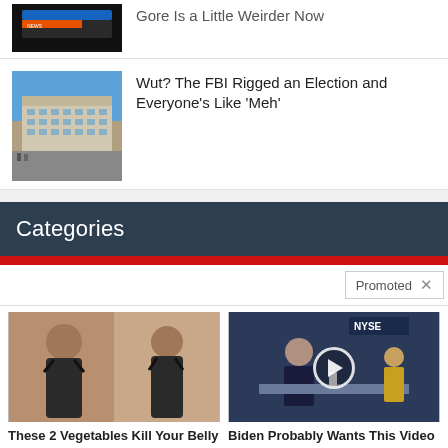[Figure (photo): Dark image thumbnail, partially visible at top]
Gore Is a Little Weirder Now
[Figure (photo): Photo of FBI building exterior]
Wut? The FBI Rigged an Election and Everyone’s Like ‘Meh’
Categories
Promoted
[Figure (photo): Before and after photo of woman's back showing weight loss]
These 2 Vegetables Kill Your Belly And Arm Fat Overnight
🔥 167,487
[Figure (photo): Video thumbnail showing news program with NYSE in background]
Biden Probably Wants This Video Destroyed — Massive Currency Upheaval Has Started
🔥 54,759